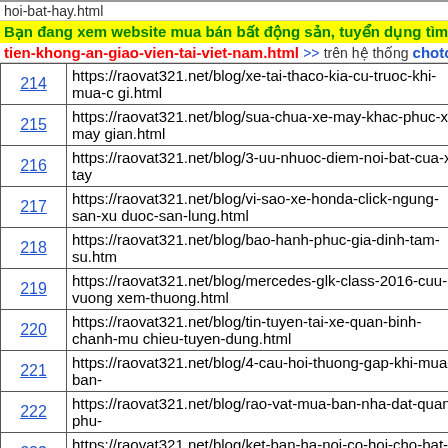hoi-bat-hay.html
Bạn đang xem website mua bán bất động sản, tuyển dụng tìm việc
tien-khong-an-giao-vien-tai-viet-nam.html >> trên hệ thống choto
| # | URL |
| --- | --- |
| 214 | https://raovat321.net/blog/xe-tai-thaco-kia-cu-truoc-khi-mua-c gi.html |
| 215 | https://raovat321.net/blog/sua-chua-xe-may-khac-phuc-xe-may gian.html |
| 216 | https://raovat321.net/blog/3-uu-nhuoc-diem-noi-bat-cua-xe-tay |
| 217 | https://raovat321.net/blog/vi-sao-xe-honda-click-ngung-san-xu duoc-san-lung.html |
| 218 | https://raovat321.net/blog/bao-hanh-phuc-gia-dinh-tam-su.htm |
| 219 | https://raovat321.net/blog/mercedes-glk-class-2016-cuu-vuong xem-thuong.html |
| 220 | https://raovat321.net/blog/tin-tuyen-tai-xe-quan-binh-chanh-mu chieu-tuyen-dung.html |
| 221 | https://raovat321.net/blog/4-cau-hoi-thuong-gap-khi-mua-ban- |
| 222 | https://raovat321.net/blog/rao-vat-mua-ban-nha-dat-quan-phu- |
| 223 | https://raovat321.net/blog/ket-ban-ha-noi-co-hoi-cho-bat-ky-ai |
| 224 | https://raovat321.net/blog/xe-sirius-cu-gia-cao-van-dat-khach- nay.html |
| 225 | https://raovat321.net/blog/tong-dai-viettel-mobifone-vietnamo |